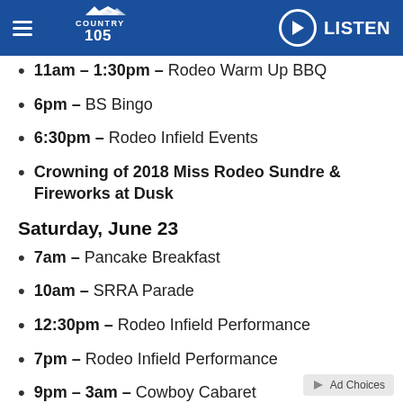Country 105 — LISTEN
11am – 1:30pm – Rodeo Warm Up BBQ
6pm – BS Bingo
6:30pm – Rodeo Infield Events
Crowning of 2018 Miss Rodeo Sundre & Fireworks at Dusk
Saturday, June 23
7am – Pancake Breakfast
10am – SRRA Parade
12:30pm – Rodeo Infield Performance
7pm – Rodeo Infield Performance
9pm – 3am – Cowboy Cabaret
Sunday, June 24